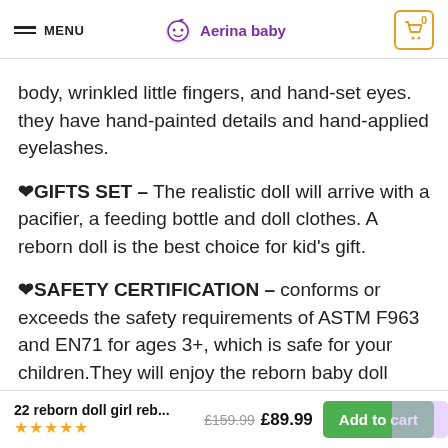MENU | Aerina baby
body, wrinkled little fingers, and hand-set eyes. they have hand-painted details and hand-applied eyelashes.
❤GIFTS SET – The realistic doll will arrive with a pacifier, a feeding bottle and doll clothes. A reborn doll is the best choice for kid's gift.
❤SAFETY CERTIFICATION – conforms or exceeds the safety requirements of ASTM F963 and EN71 for ages 3+, which is safe for your children.They will enjoy the reborn baby doll games.
22 reborn doll girl reb... £159.99 £89.99 Add to cart ★★★★★